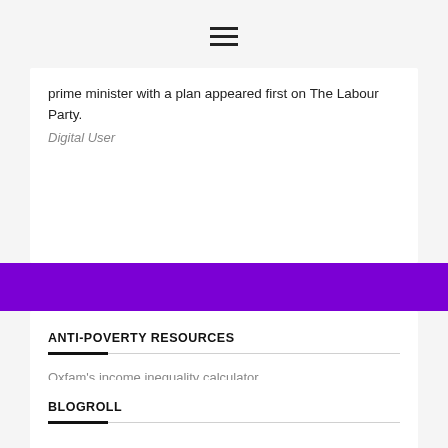≡
prime minister with a plan appeared first on The Labour Party.
Digital User
ANTI-POVERTY RESOURCES
Oxfam's income inequality calculator
BLOGROLL